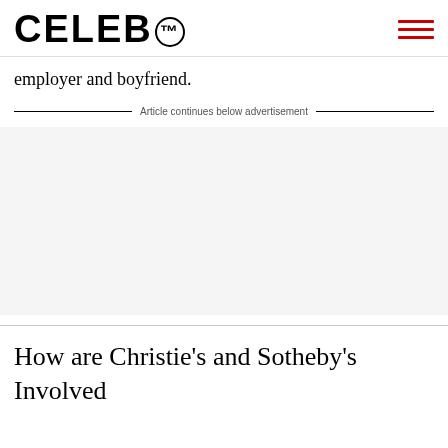CELEB™
employer and boyfriend.
Article continues below advertisement
[Figure (other): Advertisement placeholder area]
How are Christie's and Sotheby's Involved